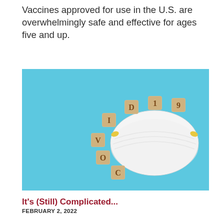Vaccines approved for use in the U.S. are overwhelmingly safe and effective for ages five and up.
[Figure (photo): Photo of a white N95 respirator mask on a light blue background, surrounded by wooden alphabet blocks arranged in a semicircle spelling out COVID-19.]
It's (Still) Complicated...
FEBRUARY 2, 2022